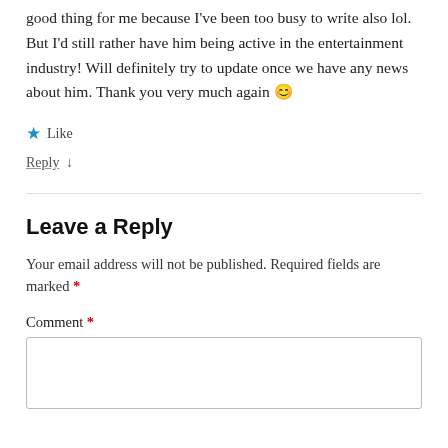good thing for me because I've been too busy to write also lol. But I'd still rather have him being active in the entertainment industry! Will definitely try to update once we have any news about him. Thank you very much again 😊
★ Like
Reply ↓
Leave a Reply
Your email address will not be published. Required fields are marked *
Comment *